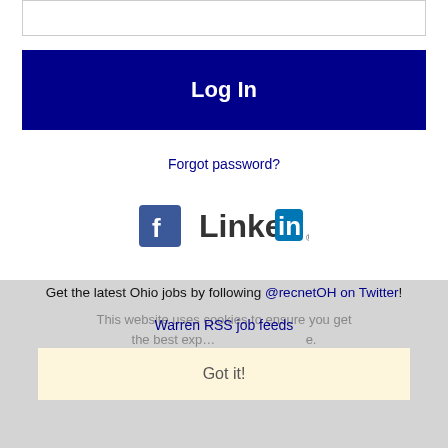[Figure (screenshot): Text input field (password or username box) at the top of the page]
Log In
Forgot password?
[Figure (logo): Facebook and LinkedIn social login buttons/icons]
Get the latest Ohio jobs by following @recnetOH on Twitter!
Warren RSS job feeds
This website uses cookies to ensure you get the best experience.
Learn more
Got it!